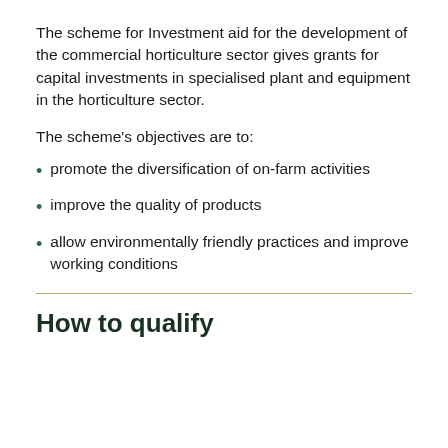The scheme for Investment aid for the development of the commercial horticulture sector gives grants for capital investments in specialised plant and equipment in the horticulture sector.
The scheme's objectives are to:
promote the diversification of on-farm activities
improve the quality of products
allow environmentally friendly practices and improve working conditions
How to qualify